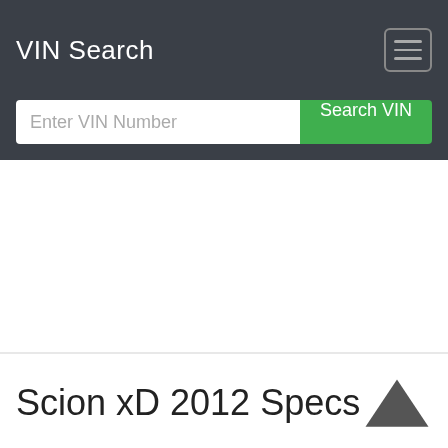VIN Search
Enter VIN Number
Search VIN
Scion xD 2012 Specs